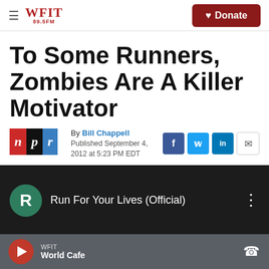WFIT 89.5FM — Donate
To Some Runners, Zombies Are A Killer Motivator
By Bill Chappell
Published September 4, 2012 at 5:23 PM EDT
[Figure (screenshot): NPR logo with n (red), p (black), r (blue) letter blocks]
[Figure (screenshot): Social sharing icons: Facebook (f), Twitter (bird), LinkedIn (in), Email (envelope)]
[Figure (screenshot): Video thumbnail: dark background with green circle R icon and title 'Run For Your Lives (Official)' with three-dot menu]
WFIT — World Cafe (audio player bar)